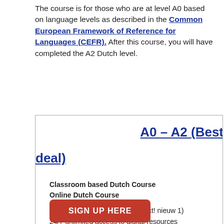The course is for those who are at level A0 based on language levels as described in the Common European Framework of Reference for Languages (CEFR). After this course, you will have completed the A2 Dutch level.
A0 – A2 (Best deal)
Classroom based Dutch Course
Online Dutch Course

Book 1 Chapters: 1 – 15 (Contact! nieuw 1)
24/7 unlimited access to digital resources
Book 2 Chapters: 1 – 15 (Contact! nieuw 2)
Live virtual classroom lessons with teacher and classmates
Lesson hours: 96
Lesson hours: 64h
Price: € 1.046,-
Price: € 736,-
SIGN UP HERE